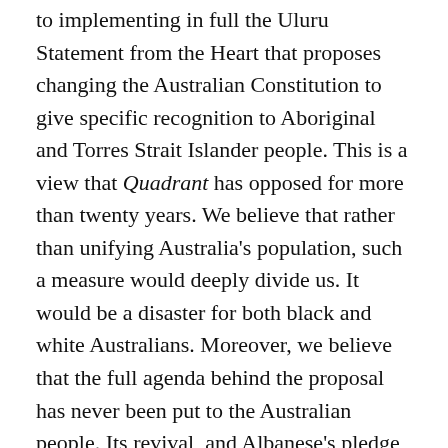to implementing in full the Uluru Statement from the Heart that proposes changing the Australian Constitution to give specific recognition to Aboriginal and Torres Strait Islander people. This is a view that Quadrant has opposed for more than twenty years. We believe that rather than unifying Australia's population, such a measure would deeply divide us. It would be a disaster for both black and white Australians. Moreover, we believe that the full agenda behind the proposal has never been put to the Australian people. Its revival, and Albanese's pledge to put it to a referendum in his current term of office, means it has become once more a critical political issue that deserves an immediate but thorough response. The article that follows is Part One of a multi-part response that will be published weekly for those who come to Quadrant Online...